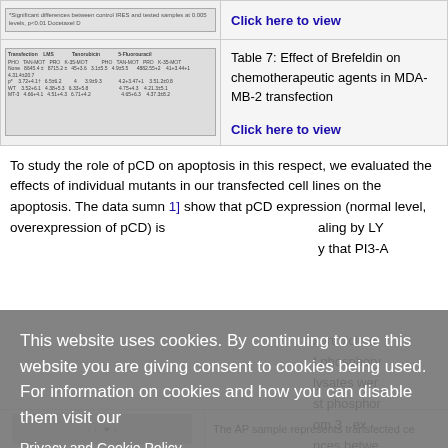[Figure (screenshot): Thumbnail of a figure with text: significant differences between control IRES and tested samples at 0.005 levels, p<0.01 Docetaxel D]
Click here to view
Table 7: Effect of Brefeldin on chemotherapeutic agents in MDA-MB-2 transfection
Click here to view
To study the role of pCD on apoptosis in this respect, we evaluated the effects of individual mutants in our transfected cell lines on the apoptosis. The data sumn 1] show that pCD expression (normal level, overexpression of pCD) is aling by LY y that PI3-A
xorubicin o f phosphory lysates wer st phosphor om 3 ex nces betwe mples at Ps CD-induced n from 3 ex
This website uses cookies. By continuing to use this website you are giving consent to cookies being used. For information on cookies and how you can disable them visit our
Privacy and Cookie Policy.
AGREE & PROCEED
[Figure (screenshot): Bottom thumbnail image of a figure/blot]
The AP sample represents transfected ce